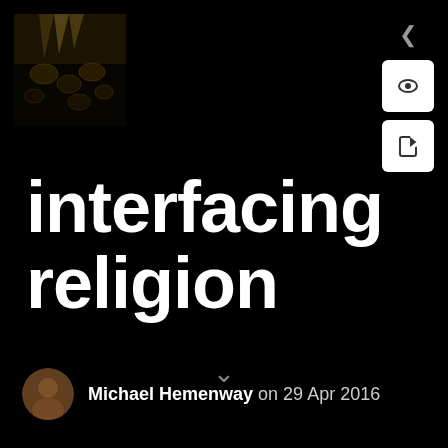[Figure (photo): Small thumbnail image showing a dark architectural/nature scene, possibly stained glass or trees with light filtering through]
interfacing religion
Michael Hemenway on 29 Apr 2016